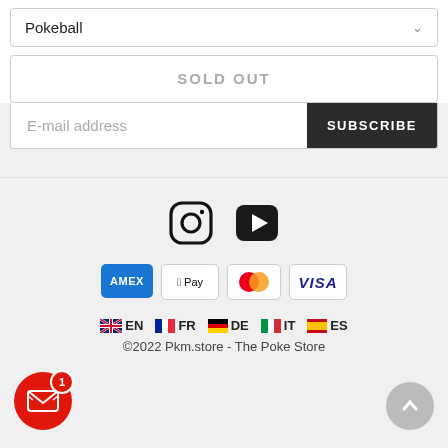Pokeball
SOLD OUT
E-mail address
SUBSCRIBE
[Figure (screenshot): Social media icons: Instagram and YouTube/play button]
[Figure (infographic): Payment method icons: AMEX, Apple Pay, Mastercard, VISA]
EN  FR  DE  IT  ES
©2022 Pkm.store - The Poke Store